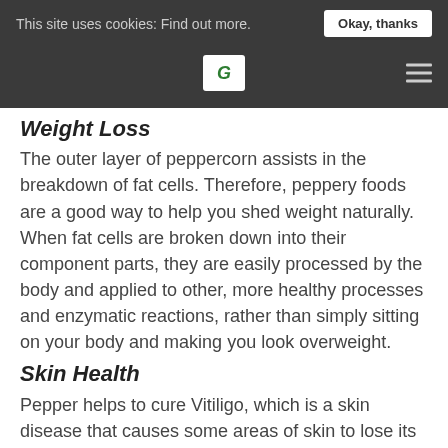This site uses cookies: Find out more.  Okay, thanks
Weight Loss
The outer layer of peppercorn assists in the breakdown of fat cells. Therefore, peppery foods are a good way to help you shed weight naturally. When fat cells are broken down into their component parts, they are easily processed by the body and applied to other, more healthy processes and enzymatic reactions, rather than simply sitting on your body and making you look overweight.
Skin Health
Pepper helps to cure Vitiligo, which is a skin disease that causes some areas of skin to lose its normal pigmentation and turn white. According to researchers in London, the piperine content of pepper can